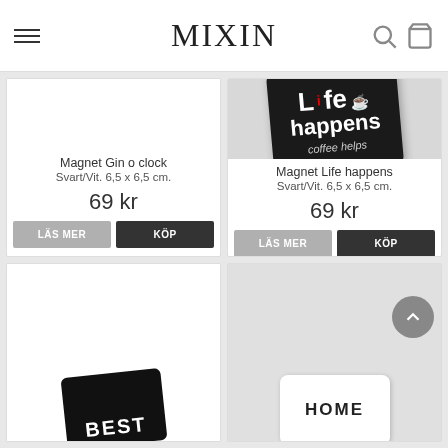MIXIN
[Figure (photo): Product card - Magnet Gin o clock (image not visible)]
Magnet Gin o clock
Svart/Vit. 6,5 x 6,5 cm.
69 kr
[Figure (photo): Black coaster/magnet with white text reading 'Life happens coffee helps' with a coffee cup icon]
Magnet Life happens
Svart/Vit. 6,5 x 6,5 cm.
69 kr
[Figure (photo): Partial image of a black magnet with white bold text reading BEST, shown at bottom of card]
[Figure (photo): Partial image of a white/light magnet with bold text HOME, shown at bottom of card]